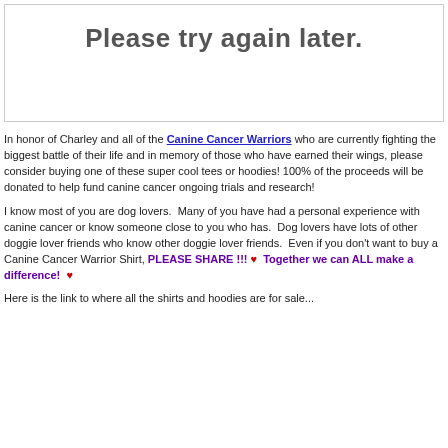Please try again later.
In honor of Charley and all of the Canine Cancer Warriors who are currently fighting the biggest battle of their life and in memory of those who have earned their wings, please consider buying one of these super cool tees or hoodies! 100% of the proceeds will be donated to help fund canine cancer ongoing trials and research!
I know most of you are dog lovers.  Many of you have had a personal experience with canine cancer or know someone close to you who has.  Dog lovers have lots of other doggie lover friends who know other doggie lover friends.  Even if you don't want to buy a Canine Cancer Warrior Shirt, PLEASE SHARE !!! ♥  Together we can ALL make a difference!  ♥
Here is the link to where all the shirts and hoodies are for sale...